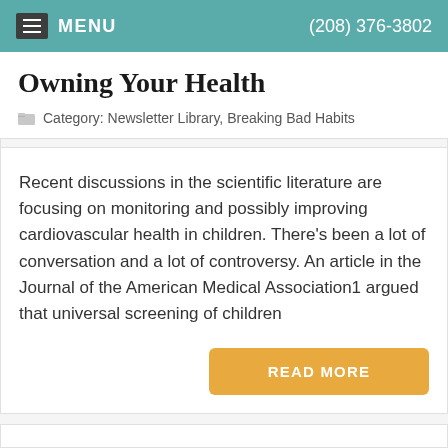MENU  (208) 376-3802
Owning Your Health
Category: Newsletter Library, Breaking Bad Habits
Recent discussions in the scientific literature are focusing on monitoring and possibly improving cardiovascular health in children. There's been a lot of conversation and a lot of controversy. An article in the Journal of the American Medical Association1 argued that universal screening of children
READ MORE